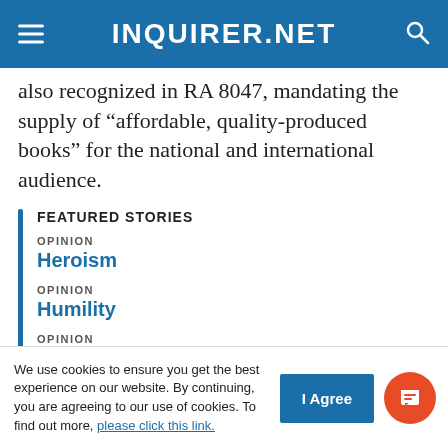INQUIRER.NET
also recognized in RA 8047, mandating the supply of “affordable, quality-produced books” for the national and international audience.
FEATURED STORIES
OPINION
Heroism
OPINION
Humility
OPINION
Budget disconnect
The Florence Agreement or the International
We use cookies to ensure you get the best experience on our website. By continuing, you are agreeing to our use of cookies. To find out more, please click this link.